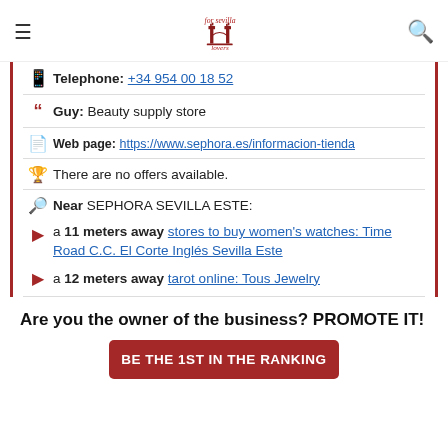For Sevilla Lovers (logo)
Telephone: +34 954 00 18 52
Guy: Beauty supply store
Web page: https://www.sephora.es/informacion-tienda
There are no offers available.
Near SEPHORA SEVILLA ESTE:
a 11 meters away stores to buy women's watches: Time Road C.C. El Corte Inglés Sevilla Este
a 12 meters away tarot online: Tous Jewelry
Are you the owner of the business? PROMOTE IT!
BE THE 1ST IN THE RANKING